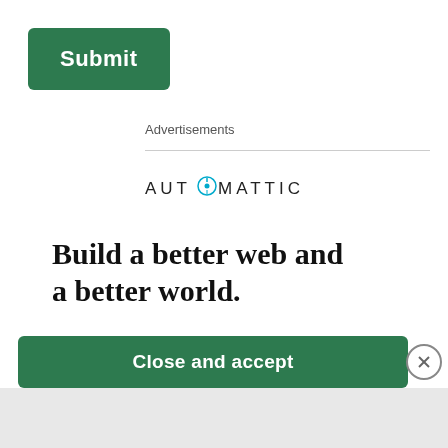[Figure (other): Green Submit button]
Advertisements
[Figure (logo): AUTOMATTIC logo with compass icon replacing the O]
Build a better web and a better world.
Privacy & Cookies: This site uses cookies. By continuing to use this website, you agree to their use. To find out more, including how to control cookies, see here: Cookie Policy
[Figure (other): Close and accept green button]
[Figure (other): X close circle button]